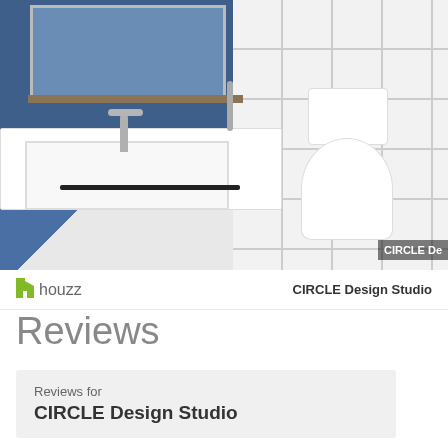[Figure (photo): Bathroom interior photo showing a modern bathroom with blue accent wall, white rectangular vessel sink with black metal frame, brushed nickel faucet, white subway tile walls, walk-in shower with glass panel, and white toilet. A mirror and wooden shelf are mounted on the blue wall.]
houzz   CIRCLE Design Studio
Reviews
Reviews for
CIRCLE Design Studio